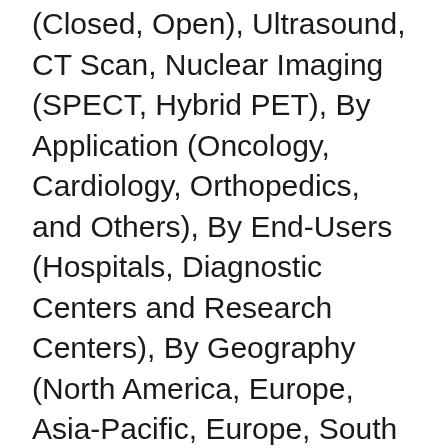(Closed, Open), Ultrasound, CT Scan, Nuclear Imaging (SPECT, Hybrid PET), By Application (Oncology, Cardiology, Orthopedics, and Others), By End-Users (Hospitals, Diagnostic Centers and Research Centers), By Geography (North America, Europe, Asia-Pacific, Europe, South America, Middle East and Africa)- Industry Trends and Forecast to 2024
Request for Sample Report @ http://databridgemarketresearch.com/request-a-sample/?dbmr=global-diagnostic-imaging-equipment-market&utm_source=marketersmedia&utm_campaign
Diagnostic imaging equipment is used for early detection of diseases with the usage of medical